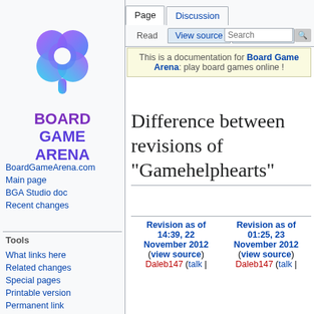Log in
[Figure (logo): Board Game Arena logo with colorful icon and bold purple/blue text]
BoardGameArena.com
Main page
BGA Studio doc
Recent changes
Tools
What links here
Related changes
Special pages
Printable version
Permanent link
Page information
This is a documentation for Board Game Arena: play board games online !
Difference between revisions of "Gamehelphearts"
| Revision as of 14:39, 22 November 2012 (view source) | Revision as of 01:25, 23 November 2012 (view source) |
| --- | --- |
| Daleb147 (talk | | Daleb147 (talk | |